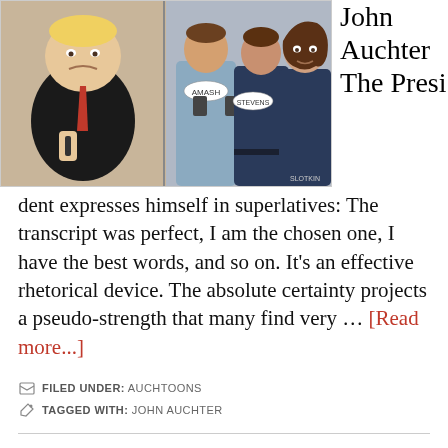[Figure (illustration): Political cartoon showing caricatures: a heavy-set figure in a suit on the left, a person in a light blue shirt with 'AMASH' label holding a phone, another in a dark shirt labeled 'STEVENS', and a woman labeled 'SLOTKIN' on the right.]
John Auchter The President expresses himself in superlatives: The transcript was perfect, I am the chosen one, I have the best words, and so on. It's an effective rhetorical device. The absolute certainty projects a pseudo-strength that many find very … [Read more...]
FILED UNDER: AUCHTOONS
TAGGED WITH: JOHN AUCHTER
Auchtoons: We'll miss free